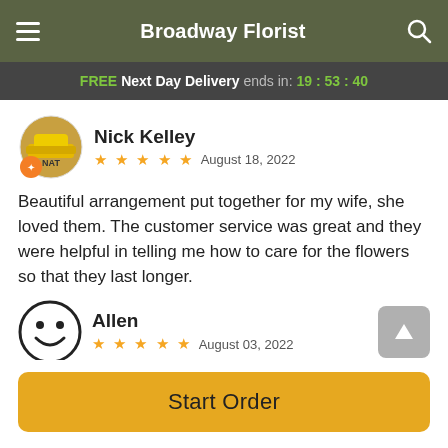Broadway Florist
FREE Next Day Delivery ends in: 19:53:40
Nick Kelley
★★★★★  August 18, 2022
Beautiful arrangement put together for my wife, she loved them. The customer service was great and they were helpful in telling me how to care for the flowers so that they last longer.
Allen
★★★★★  August 03, 2022
Start Order